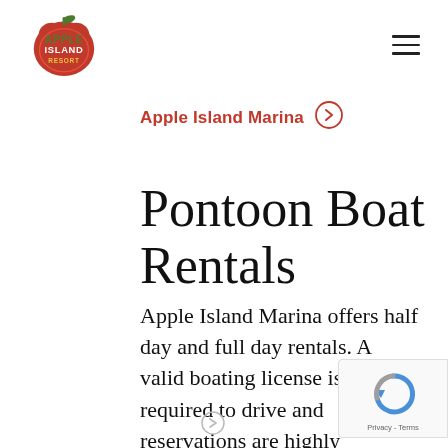[Figure (logo): Apple Island Resort logo — red apple shape with green 'APPLE ISLAND RESORT' text]
Apple Island Marina →
Pontoon Boat Rentals
Apple Island Marina offers half day and full day rentals. A valid boating license is required to drive and reservations are highly recommended.
[Figure (other): Google reCAPTCHA badge with Privacy - Terms text]